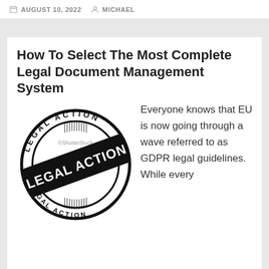AUGUST 10, 2022  MICHAEL
How To Select The Most Complete Legal Document Management System
[Figure (illustration): A stamp graphic showing 'LEGAL ACTION' text repeated in a circular badge and diagonally across the center, black ink style.]
Everyone knows that EU is now going through a wave referred to as GDPR legal guidelines. While every